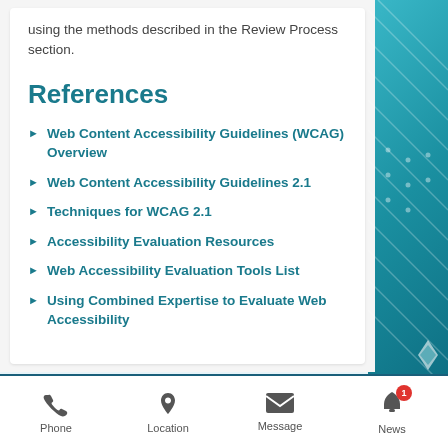using the methods described in the Review Process section.
References
Web Content Accessibility Guidelines (WCAG) Overview
Web Content Accessibility Guidelines 2.1
Techniques for WCAG 2.1
Accessibility Evaluation Resources
Web Accessibility Evaluation Tools List
Using Combined Expertise to Evaluate Web Accessibility
Phone | Location | Message | News